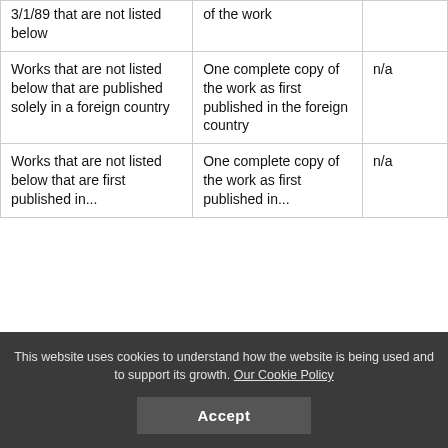| 3/1/89 that are not listed below | of the work |  |
| Works that are not listed below that are published solely in a foreign country | One complete copy of the work as first published in the foreign country | n/a |
| Works that are not listed below that are first published... | One complete copy of the work as first published... | n/a |
This website uses cookies to understand how the website is being used and to support its growth. Our Cookie Policy